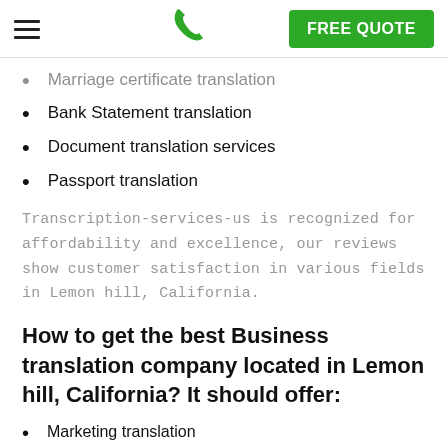FREE QUOTE
Marriage certificate translation (clipped)
Bank Statement translation
Document translation services
Passport translation
Transcription-services-us is recognized for affordability and excellence, our reviews show customer satisfaction in various fields in Lemon hill, California.
How to get the best Business translation company located in Lemon hill, California? It should offer:
Marketing translation
Corporate translation